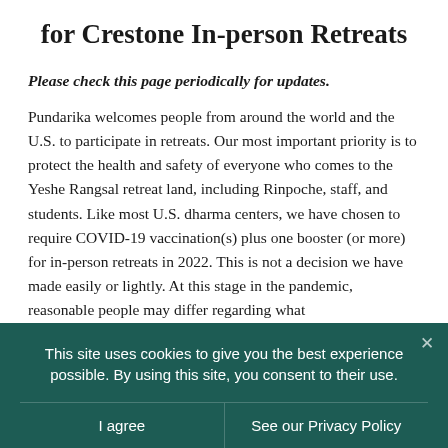for Crestone In-person Retreats
Please check this page periodically for updates.
Pundarika welcomes people from around the world and the U.S. to participate in retreats. Our most important priority is to protect the health and safety of everyone who comes to the Yeshe Rangsal retreat land, including Rinpoche, staff, and students. Like most U.S. dharma centers, we have chosen to require COVID-19 vaccination(s) plus one booster (or more) for in-person retreats in 2022. This is not a decision we have made easily or lightly. At this stage in the pandemic, reasonable people may differ regarding what
This site uses cookies to give you the best experience possible. By using this site, you consent to their use.
I agree
See our Privacy Policy